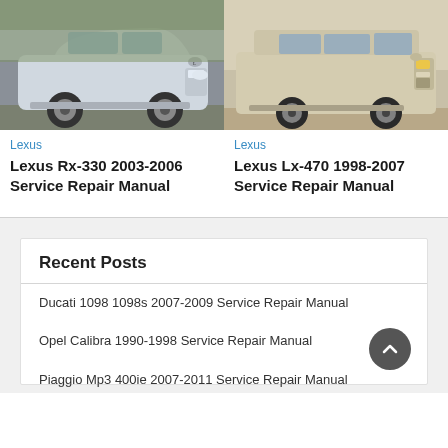[Figure (photo): Photo of a silver Lexus RX-330 SUV, front three-quarter view, parked outdoors]
[Figure (photo): Photo of a silver/gold Lexus LX-470 SUV, front three-quarter view, parked outdoors]
Lexus
Lexus Rx-330 2003-2006 Service Repair Manual
Lexus
Lexus Lx-470 1998-2007 Service Repair Manual
Recent Posts
Ducati 1098 1098s 2007-2009 Service Repair Manual
Opel Calibra 1990-1998 Service Repair Manual
Piaggio Mp3 400ie 2007-2011 Service Repair Manual